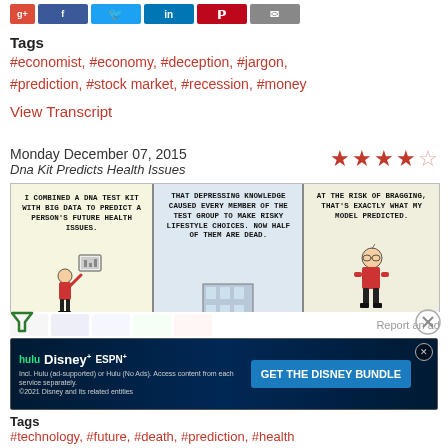[Figure (screenshot): Social media share buttons: Google+, Facebook, Twitter, LinkedIn, Pinterest, Email]
Tags
#economist, #economy, #deception, #jargon, #prediction, #stock market, #recession, #money
View Transcript
Monday December 07, 2015
Dna Kit Predicts Health Issues
[Figure (illustration): Dilbert comic strip: three panels. Panel 1: Dilbert says 'I combined a DNA test kit with big data to predict a person's future health issues.' Panel 2: 'That depressing knowledge caused every member of the test group to make risky lifestyle choices. Now half of them are dead.' Panel 3: 'At the risk of bragging, that's exactly what my model predicted.']
[Figure (screenshot): Disney Bundle advertisement banner: hulu, Disney+, ESPN+. GET THE DISNEY BUNDLE. Incl. Hulu (ad-supported) or Hulu (No Ads). Access content from each service separately. ©2021 Disney and its related entities]
Tags
#technology, #future, #death, #prediction, #health